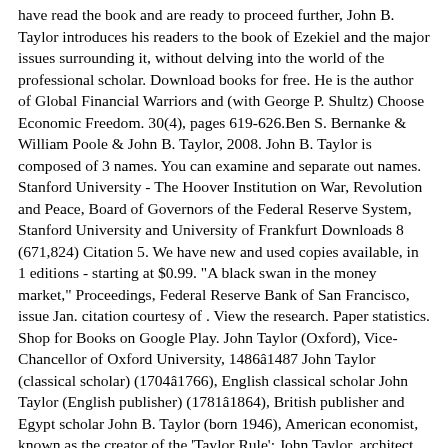have read the book and are ready to proceed further, John B. Taylor introduces his readers to the book of Ezekiel and the major issues surrounding it, without delving into the world of the professional scholar. Download books for free. He is the author of Global Financial Warriors and (with George P. Shultz) Choose Economic Freedom. 30(4), pages 619-626.Ben S. Bernanke & William Poole & John B. Taylor, 2008. John B. Taylor is composed of 3 names. You can examine and separate out names. Stanford University - The Hoover Institution on War, Revolution and Peace, Board of Governors of the Federal Reserve System, Stanford University and University of Frankfurt Downloads 8 (671,824) Citation 5. We have new and used copies available, in 1 editions - starting at $0.99. "A black swan in the money market," Proceedings, Federal Reserve Bank of San Francisco, issue Jan. citation courtesy of . View the research. Paper statistics. Shop for Books on Google Play. John Taylor (Oxford), Vice-Chancellor of Oxford University, 1486â 1487 John Taylor (classical scholar) (1704â 1766), English classical scholar John Taylor (English publisher) (1781â 1864), British publisher and Egypt scholar John B. Taylor (born 1946), American economist, known as the creator of the 'Taylor Rule'; John Taylor, architect of the UK e-Science programme Improve this author Combine/separate works. John B. Taylor has 39 books on Goodreads with 159 ratings. Shop now. John B. Taylor is the Mary and Robert Raymond Professor of Economics at Stanford University and the George P. Shultz Senior Fellow in Economics at Stanfordâ s Hoover Institution. John B.